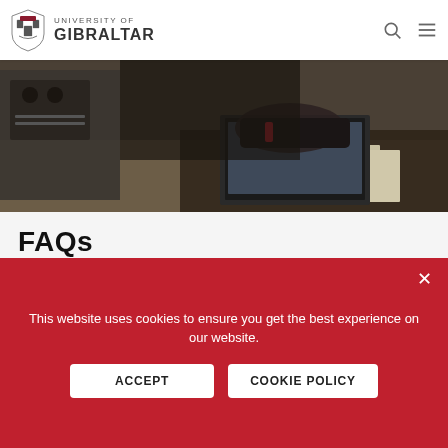University of Gibraltar
[Figure (photo): Person working at a desk with a laptop and documents, in a workshop or lab setting]
FAQs
Certification
Once completed, successful learners will be awarded with an MCA approved STCW
This website uses cookies to ensure you get the best experience on our website.